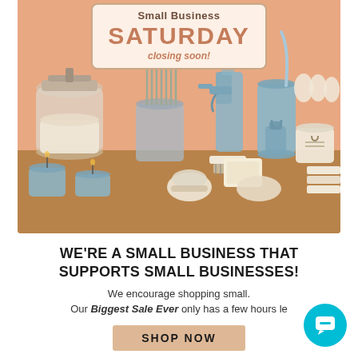[Figure (illustration): Small Business Saturday promotional illustration showing eco-friendly products on a shelf including jars, straws, spray bottle, tumbler, candles, brush, and reusable containers on a warm peach/brown background. A sign in the upper center reads 'Small Business SATURDAY closing soon!']
WE'RE A SMALL BUSINESS THAT SUPPORTS SMALL BUSINESSES!
We encourage shopping small. Our Biggest Sale Ever only has a few hours le
SHOP NOW